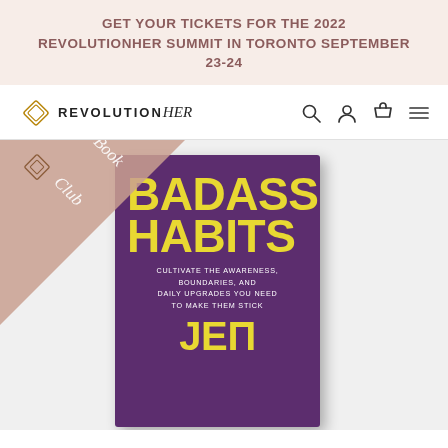GET YOUR TICKETS FOR THE 2022 REVOLUTIONHER SUMMIT IN TORONTO SEPTEMBER 23-24
[Figure (logo): RevolutionHer logo with geometric diamond icon and wordmark]
[Figure (photo): Book cover of 'Badass Habits' by Jen Sincero with a Book Club badge triangle overlay. Purple book cover with yellow title text reading BADASS HABITS, subtitle CULTIVATE THE AWARENESS, BOUNDARIES, AND DAILY UPGRADES YOU NEED TO MAKE THEM STICK, and author name JEN at bottom.]